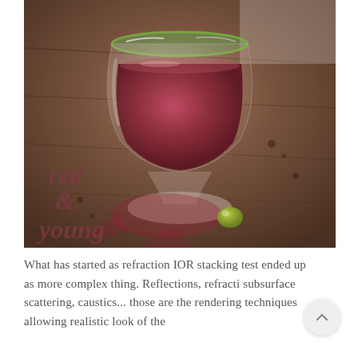[Figure (photo): Overhead view of a wine glass with red wine on a rustic wooden table, with a spilled drop forming a puddle around the base. An olive rests near the base. Text overlay reads 'red & young' in italic style.]
What has started as refraction IOR stacking test ended up as more complex thing. Reflections, refracti subsurface scattering, caustics... those are the rendering techniques allowing realistic look of the